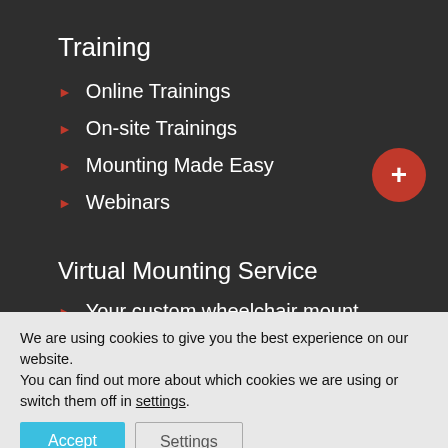Training
Online Trainings
On-site Trainings
Mounting Made Easy
Webinars
Virtual Mounting Service
Your custom wheelchair mount
We are using cookies to give you the best experience on our website.
You can find out more about which cookies we are using or switch them off in settings.
Accept
Settings